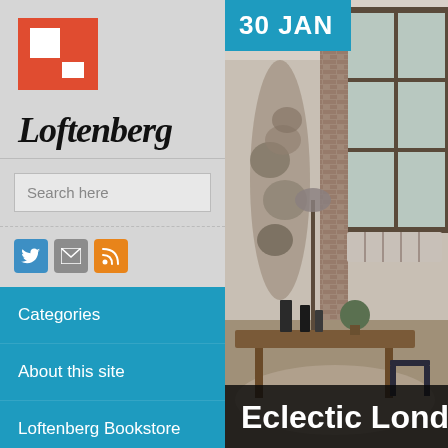[Figure (logo): Loftenberg logo: red/orange square with white L-shape cutout]
Loftenberg
Search here
[Figure (infographic): Social icons: Twitter (blue bird), Mail (grey envelope), RSS (orange RSS symbol)]
Categories
About this site
Loftenberg Bookstore
[Figure (photo): Interior loft room photo with large industrial windows, wooden table, decorative sculptural element, plants and chairs]
30 JAN
Eclectic Londo